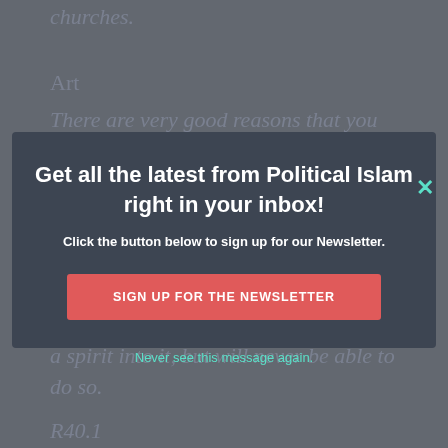churches.
Art
There are very good reasons that you do not see any great Islamic paintings or
Get all the latest from Political Islam right in your inbox!
Click the button below to sign up for our Newsletter.
SIGN UP FOR THE NEWSLETTER
Never see this message again.
required (on Judgment Day) to breathe a spirit into it, but will never be able to do so.
R40.1